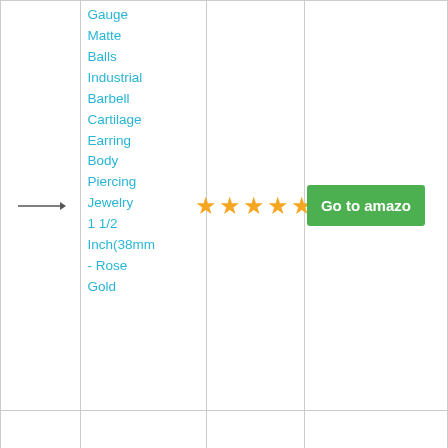|  | Product Name | Rating | Link |
| --- | --- | --- | --- |
| → | Gauge
Matte
Balls
Industrial
Barbell
Cartilage
Earring
Body
Piercing
Jewelry
1 1/2
Inch(38mm)
- Rose
Gold | ★★★★★ | Go to amazon |
|  |  |  |  |